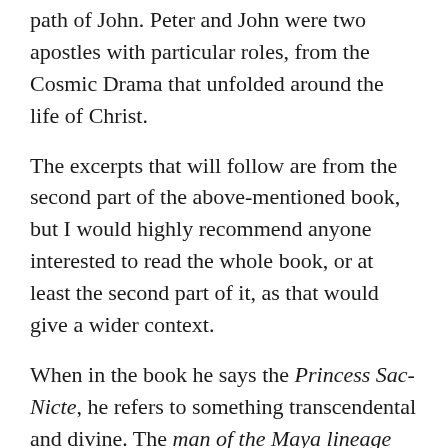path of John. Peter and John were two apostles with particular roles, from the Cosmic Drama that unfolded around the life of Christ.
The excerpts that will follow are from the second part of the above-mentioned book, but I would highly recommend anyone interested to read the whole book, or at least the second part of it, as that would give a wider context.
When in the book he says the Princess Sac-Nicte, he refers to something transcendental and divine. The man of the Maya lineage are those men and women who chose to live centered in their divine essence, and not in the clay.